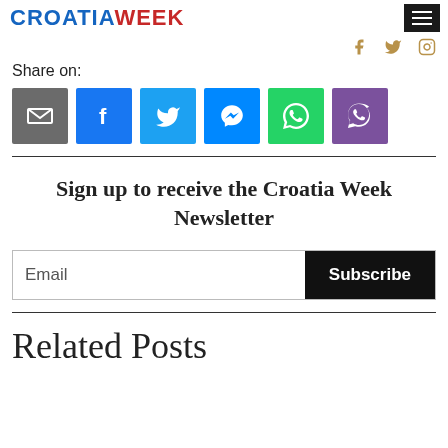CROATIAWEEK
Share on:
[Figure (infographic): Six social media share buttons: email (grey), Facebook (blue), Twitter (light blue), Messenger (blue), WhatsApp (green), Viber (purple)]
Sign up to receive the Croatia Week Newsletter
Email  Subscribe
Related Posts